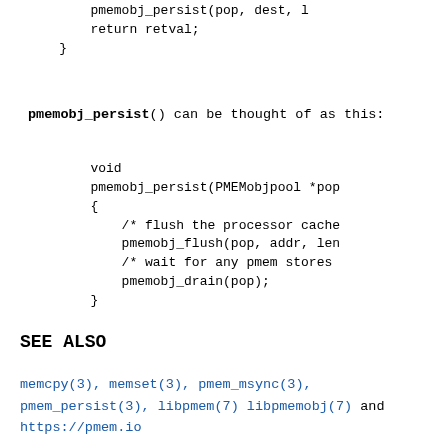pmemobj_persist(pop, dest, 1
        return retval;
    }
pmemobj_persist() can be thought of as this:
void
pmemobj_persist(PMEMobjpool *pop
{
    /* flush the processor cache
    pmemobj_flush(pop, addr, len
    /* wait for any pmem stores
    pmemobj_drain(pop);
}
SEE ALSO
memcpy(3), memset(3), pmem_msync(3),
pmem_persist(3), libpmem(7) libpmemobj(7) and
https://pmem.io